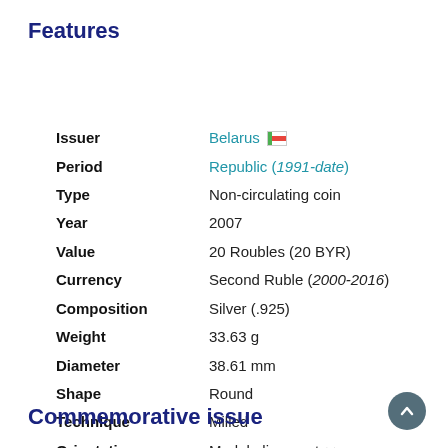Features
| Field | Value |
| --- | --- |
| Issuer | Belarus 🇧🇾 |
| Period | Republic (1991-date) |
| Type | Non-circulating coin |
| Year | 2007 |
| Value | 20 Roubles (20 BYR) |
| Currency | Second Ruble (2000-2016) |
| Composition | Silver (.925) |
| Weight | 33.63 g |
| Diameter | 38.61 mm |
| Shape | Round |
| Technique | Milled |
| Orientation | Medal alignment ↑↑ |
| Number | N#32484 |
| References | KM#169 |
Commemorative issue